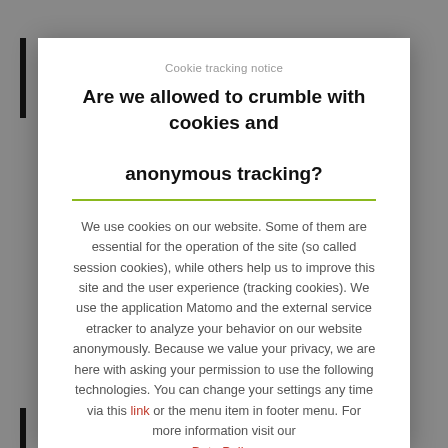Cookie tracking notice
Are we allowed to crumble with cookies and anonymous tracking?
We use cookies on our website. Some of them are essential for the operation of the site (so called session cookies), while others help us to improve this site and the user experience (tracking cookies). We use the application Matomo and the external service etracker to analyze your behavior on our website anonymously. Because we value your privacy, we are here with asking your permission to use the following technologies. You can change your settings any time via this link or the menu item in footer menu. For more information visit our Data Policy